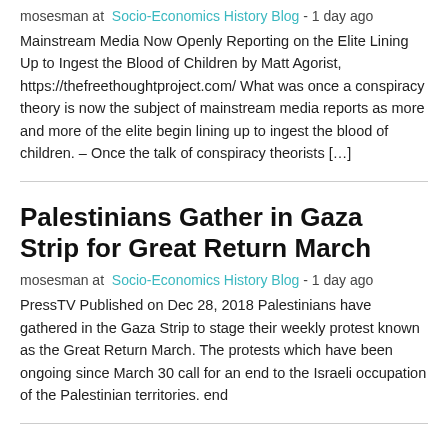mosesman at  Socio-Economics History Blog  - 1 day ago
Mainstream Media Now Openly Reporting on the Elite Lining Up to Ingest the Blood of Children by Matt Agorist, https://thefreethoughtproject.com/ What was once a conspiracy theory is now the subject of mainstream media reports as more and more of the elite begin lining up to ingest the blood of children. – Once the talk of conspiracy theorists […]
Palestinians Gather in Gaza Strip for Great Return March
mosesman at  Socio-Economics History Blog  - 1 day ago
PressTV Published on Dec 28, 2018 Palestinians have gathered in the Gaza Strip to stage their weekly protest known as the Great Return March. The protests which have been ongoing since March 30 call for an end to the Israeli occupation of the Palestinian territories. end
Something Is Not Adding Up Here… "Electrical Spectacle" witnessed by THOUSANDS! – Two MAIN Events on Same Day 1100 Miles Apart